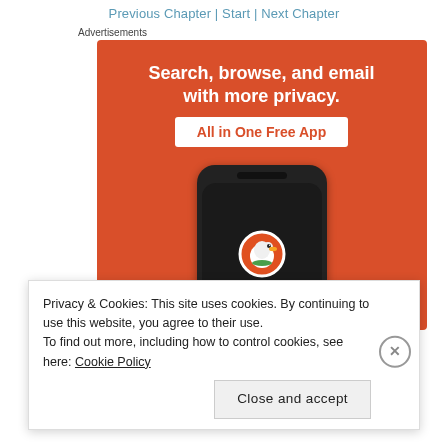Previous Chapter | Start | Next Chapter
Advertisements
[Figure (illustration): DuckDuckGo advertisement banner on orange background showing a smartphone with DuckDuckGo logo. Text reads: Search, browse, and email with more privacy. All in One Free App.]
Privacy & Cookies: This site uses cookies. By continuing to use this website, you agree to their use.
To find out more, including how to control cookies, see here: Cookie Policy
Close and accept